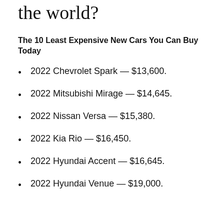the world?
The 10 Least Expensive New Cars You Can Buy Today
2022 Chevrolet Spark — $13,600.
2022 Mitsubishi Mirage — $14,645.
2022 Nissan Versa — $15,380.
2022 Kia Rio — $16,450.
2022 Hyundai Accent — $16,645.
2022 Hyundai Venue — $19,000.